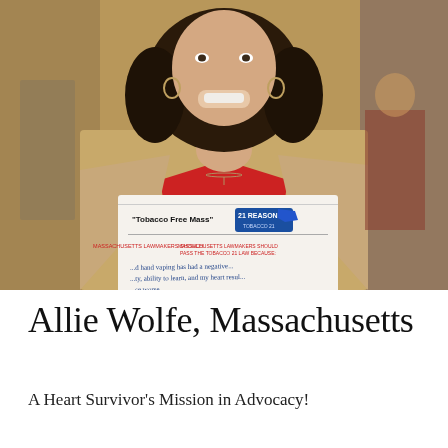[Figure (photo): A young woman with curly dark hair, wearing a beige jacket over a red top, smiling and holding a 'Tobacco Free Mass' advocacy sign with a '21 Reasons' logo and handwritten text about Massachusetts lawmakers passing the Tobacco 21 law. Indoor setting, other people visible in background.]
Allie Wolfe, Massachusetts
A Heart Survivor's Mission in Advocacy!